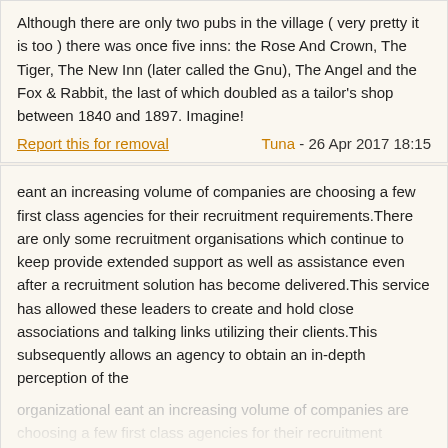Although there are only two pubs in the village ( very pretty it is too ) there was once five inns: the Rose And Crown, The Tiger, The New Inn (later called the Gnu), The Angel and the Fox & Rabbit, the last of which doubled as a tailor's shop between 1840 and 1897. Imagine!
Report this for removal    Tuna - 26 Apr 2017 18:15
eant an increasing volume of companies are choosing a few first class agencies for their recruitment requirements.There are only some recruitment organisations which continue to keep provide extended support as well as assistance even after a recruitment solution has become delivered.This service has allowed these leaders to create and hold close associations and talking links utilizing their clients.This subsequently allows an agency to obtain an in-depth perception of the organizational eant an increasing volume of companies are choosing a few first class agencies for their recruitment